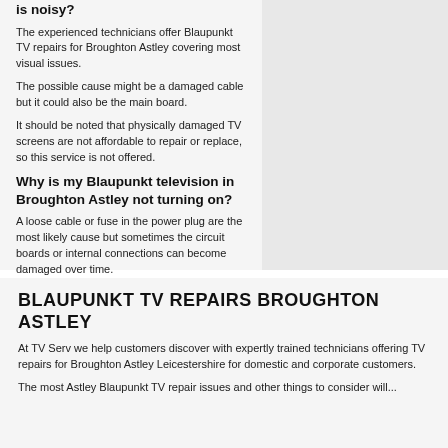is noisy?
The experienced technicians offer Blaupunkt TV repairs for Broughton Astley covering most visual issues.
The possible cause might be a damaged cable but it could also be the main board.
It should be noted that physically damaged TV screens are not affordable to repair or replace, so this service is not offered.
Why is my Blaupunkt television in Broughton Astley not turning on?
A loose cable or fuse in the power plug are the most likely cause but sometimes the circuit boards or internal connections can become damaged over time.
The team offer Blaupunkt TV repair Broughton Astley covering this issues and more.
BLAUPUNKT TV REPAIRS BROUGHTON ASTLEY
At TV Serv we help customers discover with expertly trained technicians offering TV repairs for Broughton Astley Leicestershire for domestic and corporate customers.
The most Astley Blaupunkt TV repair issues and other things to consider will...